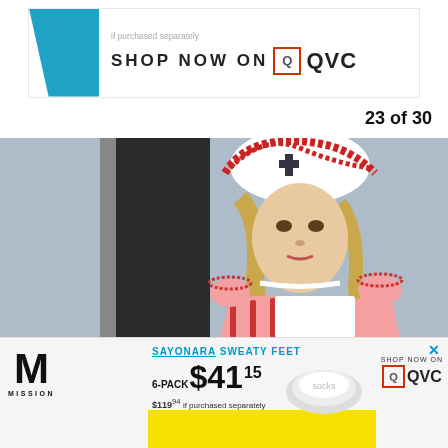[Figure (advertisement): Top QVC/Mission ad banner with blue triangle logo, text 'if purchased separately', 'SHOP NOW ON Q QVC']
23 of 30
[Figure (photo): Woman dressed in nurse Halloween costume with white hat with red cross, red and white striped dress, pearl choker necklace, long blonde hair, against blue-grey background with dark door frame]
[Figure (advertisement): Bottom Mission socks ad: SAYONARA SWEATY FEET, 6-PACK $41.15, $119.94 if purchased separately, SHOP NOW ON QVC, with sock image and yellow background element]